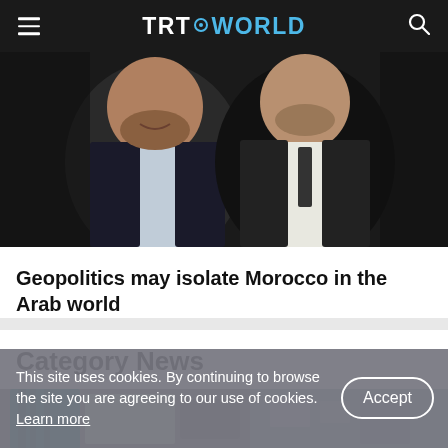TRT WORLD
[Figure (photo): Two men smiling, one in a dark jacket, one in a white shirt, photographed from chest up]
Geopolitics may isolate Morocco in the Arab world
Category News
[Figure (photo): Partial view of an interior room with teal curtains and furniture]
This site uses cookies. By continuing to browse the site you are agreeing to our use of cookies. Learn more